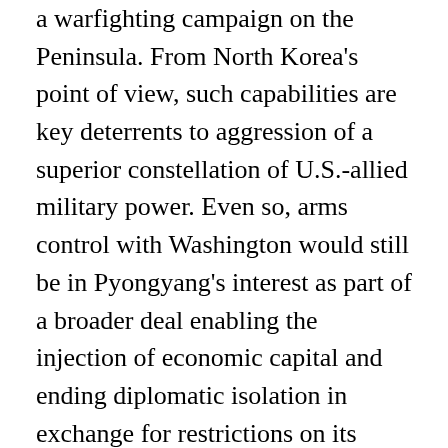a warfighting campaign on the Peninsula. From North Korea's point of view, such capabilities are key deterrents to aggression of a superior constellation of U.S.-allied military power. Even so, arms control with Washington would still be in Pyongyang's interest as part of a broader deal enabling the injection of economic capital and ending diplomatic isolation in exchange for restrictions on its missile programs. From Washington's perspective, the goal of negotiations should be to limit the utility of North Korea's missile program to deterrence,